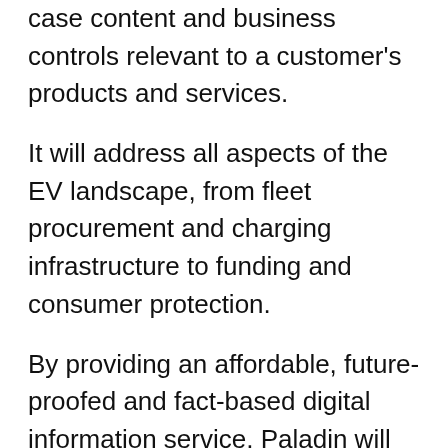case content and business controls relevant to a customer's products and services.
It will address all aspects of the EV landscape, from fleet procurement and charging infrastructure to funding and consumer protection.
By providing an affordable, future-proofed and fact-based digital information service, Paladin will enable businesses to navigate a complex new landscape and ensure compliance with market rules, standards and best practice. It will also support a collaborative approach across sectors to resolve underlying issues in the market.
Paladin will help organisations: